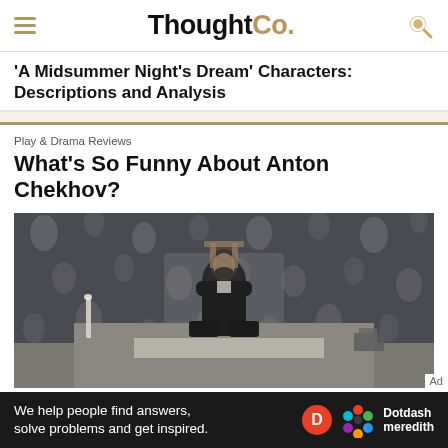ThoughtCo.
'A Midsummer Night's Dream' Characters: Descriptions and Analysis
Play & Drama Reviews
What's So Funny About Anton Chekhov?
[Figure (photo): Black and white photograph of Anton Chekhov sitting at a desk with floral wallpaper in the background]
We help people find answers, solve problems and get inspired. Dotdash meredith